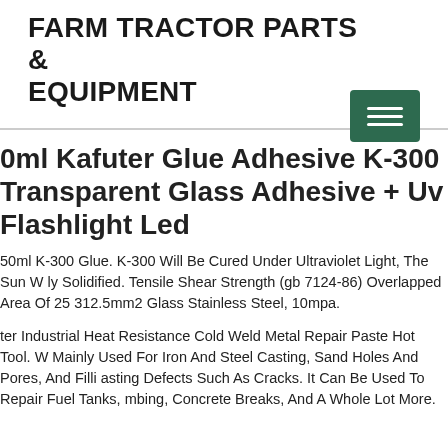FARM TRACTOR PARTS & EQUIPMENT
0ml Kafuter Glue Adhesive K-300 Transparent Glass Adhesive + Uv Flashlight Led
50ml K-300 Glue. K-300 Will Be Cured Under Ultraviolet Light, The Sun W ly Solidified. Tensile Shear Strength (gb 7124-86) Overlapped Area Of 25 312.5mm2 Glass Stainless Steel, 10mpa.
ter Industrial Heat Resistance Cold Weld Metal Repair Paste Hot Tool. W Mainly Used For Iron And Steel Casting, Sand Holes And Pores, And Filli asting Defects Such As Cracks. It Can Be Used To Repair Fuel Tanks, mbing, Concrete Breaks, And A Whole Lot More.